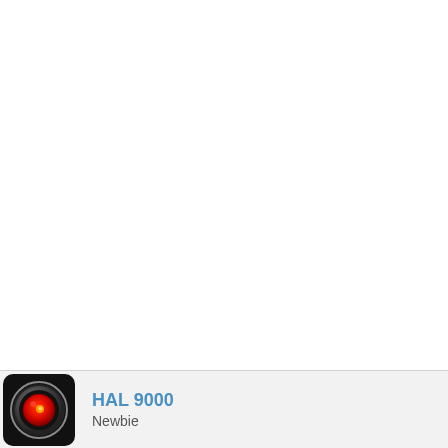[Figure (illustration): White blank space occupying most of the page, representing an empty content area of a web forum or app interface.]
[Figure (photo): HAL 9000 avatar: a black square icon with a glowing red eye lens (camera), resembling the AI from 2001: A Space Odyssey. Black background with a circular metallic ring around a glowing red orb with a small yellow-orange center point.]
HAL 9000
Newbie